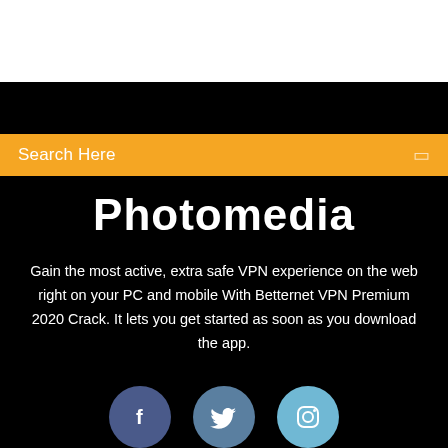Search Here
Photomedia
Gain the most active, extra safe VPN experience on the web right on your PC and mobile With Betternet VPN Premium 2020 Crack. It lets you get started as soon as you download the app.
[Figure (illustration): Three social media icon circles: Facebook (f), Twitter (bird), Instagram (camera)]